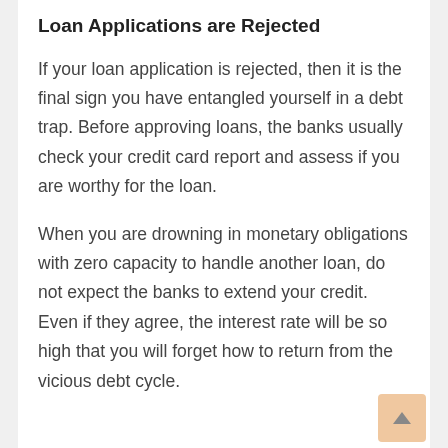Loan Applications are Rejected
If your loan application is rejected, then it is the final sign you have entangled yourself in a debt trap. Before approving loans, the banks usually check your credit card report and assess if you are worthy for the loan.
When you are drowning in monetary obligations with zero capacity to handle another loan, do not expect the banks to extend your credit. Even if they agree, the interest rate will be so high that you will forget how to return from the vicious debt cycle.